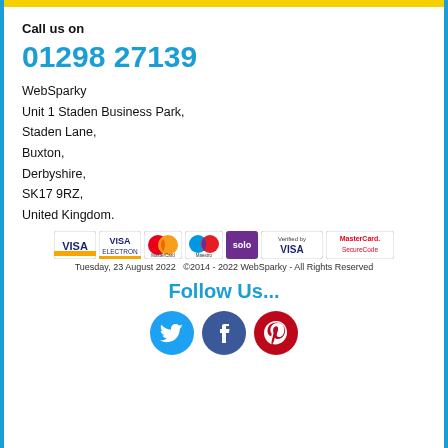Call us on
01298 27139
WebSparky
Unit 1 Staden Business Park,
Staden Lane,
Buxton,
Derbyshire,
SK17 9RZ,
United Kingdom.
[Figure (logo): Payment method logos: VISA, VISA Electron, MasterCard, Maestro, Solo, Verified by VISA, MasterCard SecureCode]
Tuesday, 23 August 2022   ©2014 - 2022 WebSparky - All Rights Reserved
Follow Us...
[Figure (logo): Social media icons: Twitter, Facebook, Pinterest]